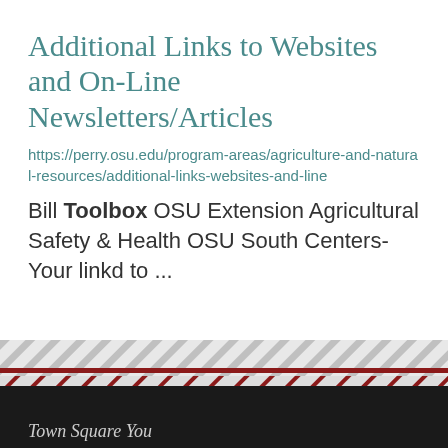Additional Links to Websites and On-Line Newsletters/Articles
https://perry.osu.edu/program-areas/agriculture-and-natural-resources/additional-links-websites-and-line
Bill Toolbox OSU Extension Agricultural Safety & Health OSU South Centers- Your linkd to ...
1  2  next ›  last »
Town Square You